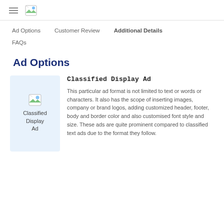≡ [logo]
Ad Options
Customer Review
Additional Details
FAQs
Ad Options
[Figure (illustration): Classified Display Ad icon inside a light blue box, showing a broken image icon with text Classified Display Ad]
Classified Display Ad
This particular ad format is not limited to text or words or characters. It also has the scope of inserting images, company or brand logos, adding customized header, footer, body and border color and also customised font style and size. These ads are quite prominent compared to classified text ads due to the format they follow.